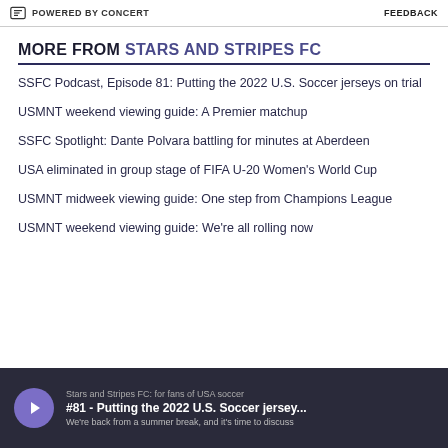POWERED BY CONCERT   FEEDBACK
MORE FROM STARS AND STRIPES FC
SSFC Podcast, Episode 81: Putting the 2022 U.S. Soccer jerseys on trial
USMNT weekend viewing guide: A Premier matchup
SSFC Spotlight: Dante Polvara battling for minutes at Aberdeen
USA eliminated in group stage of FIFA U-20 Women's World Cup
USMNT midweek viewing guide: One step from Champions League
USMNT weekend viewing guide: We're all rolling now
[Figure (other): Podcast player bar showing Stars and Stripes FC podcast #81 - Putting the 2022 U.S. Soccer jersey... with play button and description text.]